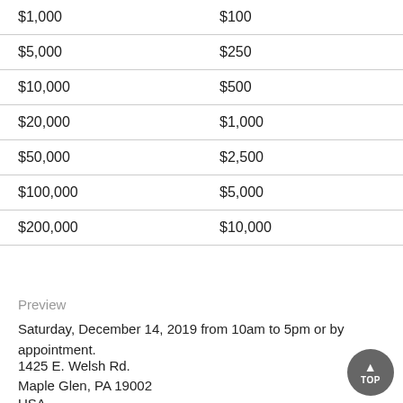| $1,000 | $100 |
| $5,000 | $250 |
| $10,000 | $500 |
| $20,000 | $1,000 |
| $50,000 | $2,500 |
| $100,000 | $5,000 |
| $200,000 | $10,000 |
Preview
Saturday, December 14, 2019 from 10am to 5pm or by appointment.
1425 E. Welsh Rd.
Maple Glen, PA 19002
USA